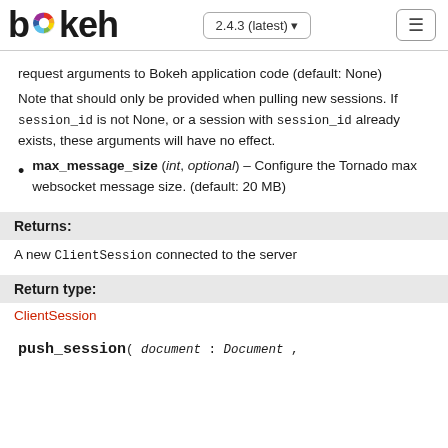bokeh 2.4.3 (latest)
request arguments to Bokeh application code (default: None)
Note that should only be provided when pulling new sessions. If session_id is not None, or a session with session_id already exists, these arguments will have no effect.
max_message_size (int, optional) – Configure the Tornado max websocket message size. (default: 20 MB)
Returns:
A new ClientSession connected to the server
Return type:
ClientSession
push_session( document : Document ,